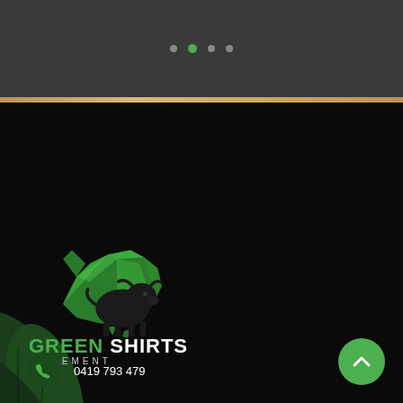[Figure (other): Dark grey background top section with navigation dots]
[Figure (logo): Green Shirts Movement logo — green Australia map outline with black bull silhouette, with text GREEN SHIRTS MOVEMENT]
0419 793 479
secretary@greenshirts.com.au
PO Box 189, Capella QLD 4723